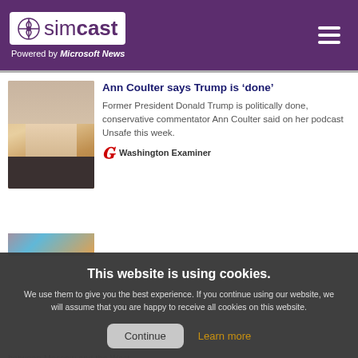simcast — Powered by Microsoft News
Ann Coulter says Trump is ‘done’
Former President Donald Trump is politically done, conservative commentator Ann Coulter said on her podcast Unsafe this week.
Washington Examiner
Before Mikhail Gorbachev’s death, a close friend said the former USSR
between Moscow and the West.
INSIDER
This website is using cookies. We use them to give you the best experience. If you continue using our website, we will assume that you are happy to receive all cookies on this website.
10 Times Nintendo Games Broke Their Own Rules